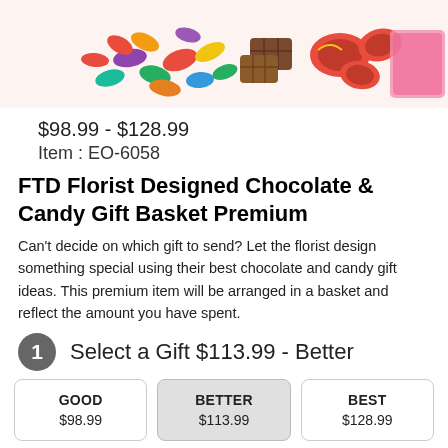[Figure (photo): Photo of colorful candy and chocolates — jelly beans, wrapped chocolates, red gift-wrapped sweets on a light background]
$98.99 - $128.99
Item : EO-6058
FTD Florist Designed Chocolate & Candy Gift Basket Premium
Can't decide on which gift to send? Let the florist design something special using their best chocolate and candy gift ideas. This premium item will be arranged in a basket and reflect the amount you have spent.
1  Select a Gift $113.99 - Better
GOOD
$98.99
BETTER
$113.99
BEST
$128.99